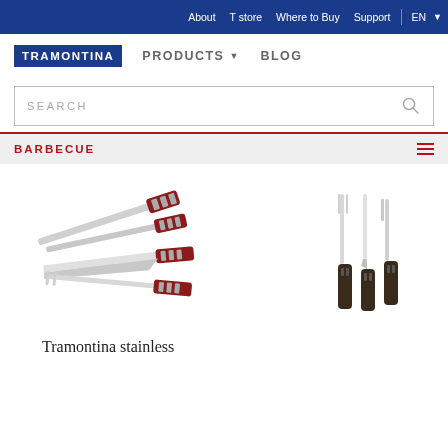About  T store  Where to Buy  Support  EN
[Figure (logo): Tramontina logo in blue rectangle]
PRODUCTS ▾   BLOG
SEARCH
BARBECUE
[Figure (photo): Tramontina barbecue knife set with red handles — tongs, spatula, carving knife, fork]
[Figure (photo): Tramontina barbecue 3-piece set with dark handles — fork, knife, tongs]
Tramontina stainless...